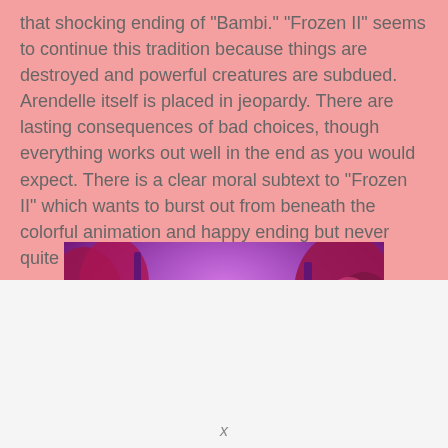that shocking ending of "Bambi." "Frozen II" seems to continue this tradition because things are destroyed and powerful creatures are subdued. Arendelle itself is placed in jeopardy. There are lasting consequences of bad choices, though everything works out well in the end as you would expect. There is a clear moral subtext to "Frozen II" which wants to burst out from beneath the colorful animation and happy ending but never quite reaches the surface.
[Figure (photo): Scene from Frozen II showing two animated characters, Anna and Elsa, standing in a purple-pink forest environment. Anna wears a dark purple cape and Elsa wears a light blue dress.]